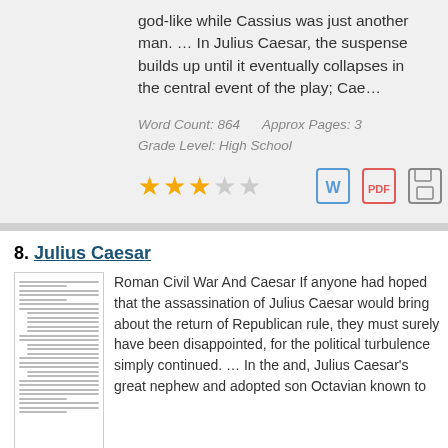god-like while Cassius was just another man. … In Julius Caesar, the suspense builds up until it eventually collapses in the central event of the play; Cae…
Word Count: 864     Approx Pages: 3
Grade Level: High School
[Figure (other): 3 filled gold stars, 2 empty stars rating, plus Word doc, PDF, and save icons]
8. Julius Caesar
[Figure (other): Thumbnail preview of essay document]
Roman Civil War And Caesar If anyone had hoped that the assassination of Julius Caesar would bring about the return of Republican rule, they must surely have been disappointed, for the political turbulence simply continued. … In the and, Julius Caesar's great nephew and adopted son Octavian known to